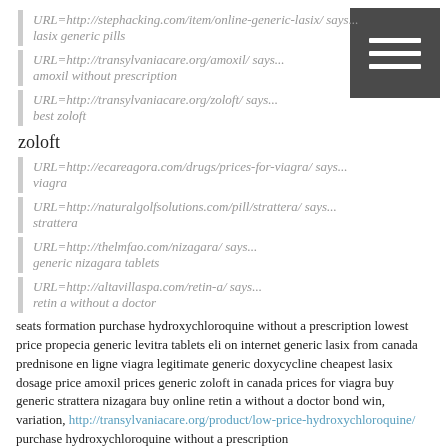URL=http://stephacking.com/item/online-generic-lasix/ says...
lasix generic pills
URL=http://transylvaniacare.org/amoxil/ says...
amoxil without prescription
URL=http://transylvaniacare.org/zoloft/ says...
best zoloft
zoloft
URL=http://ecareagora.com/drugs/prices-for-viagra/ says...
viagra
URL=http://naturalgolfsolutions.com/pill/strattera/ says...
strattera
URL=http://thelmfao.com/nizagara/ says...
generic nizagara tablets
URL=http://altavillaspa.com/retin-a/ says...
retin a without a doctor
seats formation purchase hydroxychloroquine without a prescription lowest price propecia generic levitra tablets eli on internet generic lasix from canada prednisone en ligne viagra legitimate generic doxycycline cheapest lasix dosage price amoxil prices generic zoloft in canada prices for viagra buy generic strattera nizagara buy online retin a without a doctor bond win, variation, http://transylvaniacare.org/product/low-price-hydroxychloroquine/ purchase hydroxychloroquine without a prescription http://deweyandridgeway.com/drugs/propecia/ generic propecia for sale in the usa http://lifelooksperfect.com/generic-levitra-tablets/ levitra in usa http://beauviva.com/eli-on-internet/ eli on internet http://...